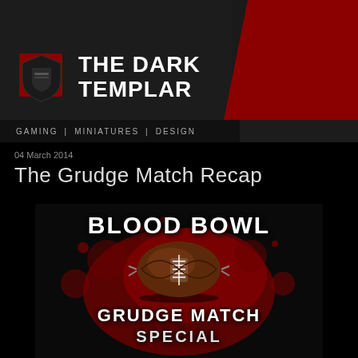THE DARK TEMPLAR | GAMING | MINIATURES | DESIGN
04 March 2014
The Grudge Match Recap
[Figure (illustration): Blood Bowl Grudge Match Special logo with a bloody football on a dark background with red splatter, white distressed text reading BLOOD BOWL above and GRUDGE MATCH SPECIAL below]